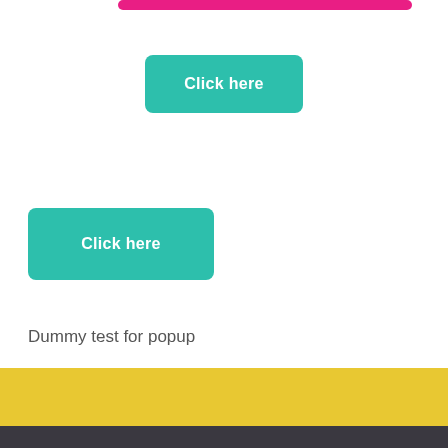[Figure (other): Partially visible pink/magenta rounded button bar cropped at top of page]
Click here
Click here
Dummy test for popup
[Figure (other): Yellow background section with bold uppercase text HELP CHILDREN IN NEED and a teal decorative swoosh/brush stroke below]
HELP CHILDREN IN NEED
Justice for Every Child